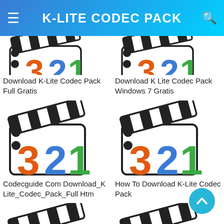K-LITE CODEC PACK
[Figure (screenshot): Partial K-Lite Codec Pack logo/icon at top-left (cropped)]
Download K-Lite Codec Pack Full Gratis
[Figure (screenshot): Partial K-Lite Codec Pack logo/icon at top-right (cropped)]
Download K Lite Codec Pack Windows 7 Gratis
[Figure (logo): K-Lite Codec Pack clapperboard icon with 321 numbers]
Codecguide Com Download_K Lite_Codec_Pack_Full Htm
[Figure (logo): K-Lite Codec Pack clapperboard icon with 321 numbers]
How To Download K-Lite Codec Pack
[Figure (logo): K-Lite Codec Pack clapperboard icon with 321 numbers (bottom-left, partial)]
[Figure (logo): K-Lite Codec Pack clapperboard icon with 321 numbers (bottom-right, partial)]